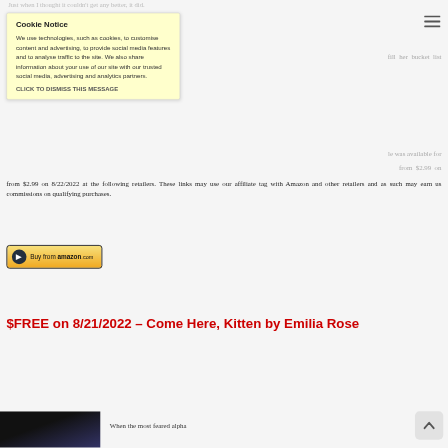Just when I thought it couldn't get any better, it did.
fill  her  bucket  list
[Figure (screenshot): Cookie notice overlay with yellow background. Title: Cookie Notice. Body text: We use technologies, such as cookies, to customise content and advertising, to provide social media features and to analyse traffic to the site. We also share information about your use of our site with our trusted social media, advertising and analytics partners. CLICK TO DISMISS THIS MESSAGE]
le was available for
from  $2.99  on 8/22/2022 at the following retailers. These links may use our affiliate tag with Amazon and other retailers and as such may earn us commissions on qualifying purchases.
[Figure (screenshot): Buy from amazon.com button — orange/yellow gradient button with Amazon logo]
$FREE on 8/21/2022 – Come Here, Kitten by Emilia Rose
When the most feared alpha
[Figure (photo): Book cover image partially visible at bottom left]
[Figure (screenshot): Scroll to top arrow button, grey rounded square with up chevron]